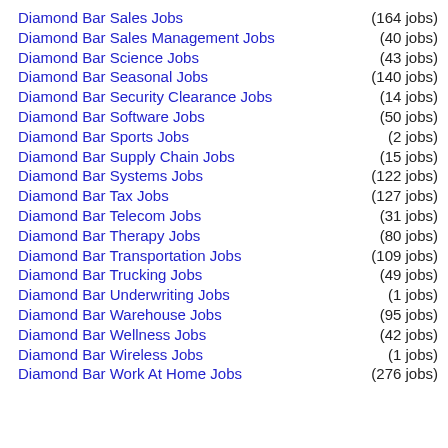Diamond Bar Sales Jobs (164 jobs)
Diamond Bar Sales Management Jobs (40 jobs)
Diamond Bar Science Jobs (43 jobs)
Diamond Bar Seasonal Jobs (140 jobs)
Diamond Bar Security Clearance Jobs (14 jobs)
Diamond Bar Software Jobs (50 jobs)
Diamond Bar Sports Jobs (2 jobs)
Diamond Bar Supply Chain Jobs (15 jobs)
Diamond Bar Systems Jobs (122 jobs)
Diamond Bar Tax Jobs (127 jobs)
Diamond Bar Telecom Jobs (31 jobs)
Diamond Bar Therapy Jobs (80 jobs)
Diamond Bar Transportation Jobs (109 jobs)
Diamond Bar Trucking Jobs (49 jobs)
Diamond Bar Underwriting Jobs (1 jobs)
Diamond Bar Warehouse Jobs (95 jobs)
Diamond Bar Wellness Jobs (42 jobs)
Diamond Bar Wireless Jobs (1 jobs)
Diamond Bar Work At Home Jobs (276 jobs)